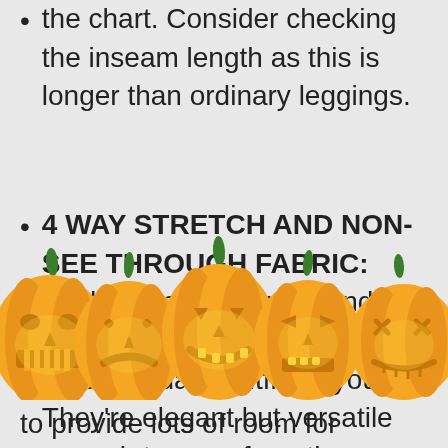the chart. Consider checking the inseam length as this is longer than ordinary leggings.
4 WAY STRETCH AND NON-SEE THROUGH FABRIC: Made from 90% Nylon and 10% Spandex, this leggings is a perfect daily outfit for you. They're elegant but versatile enough to wear from the bedroom to the boardroom. They're also comfortably stretchy!
[Figure (illustration): A row of five carved Halloween jack-o'-lantern pumpkins with glowing faces, orange bodies, and green stems]
to provide lots of room for